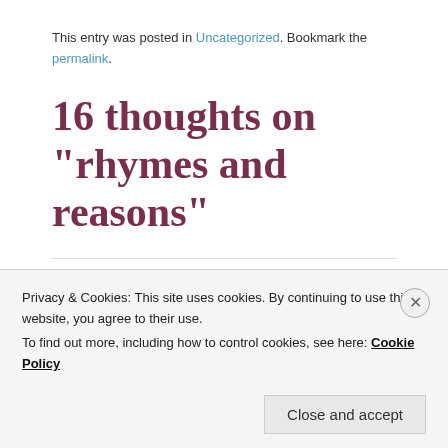This entry was posted in Uncategorized. Bookmark the permalink.
16 thoughts on “rhymes and reasons”
Tim Howard
[Figure (illustration): Blue and white geometric/abstract avatar icon made of triangular shapes in a grid pattern]
Privacy & Cookies: This site uses cookies. By continuing to use this website, you agree to their use.
To find out more, including how to control cookies, see here: Cookie Policy
Close and accept